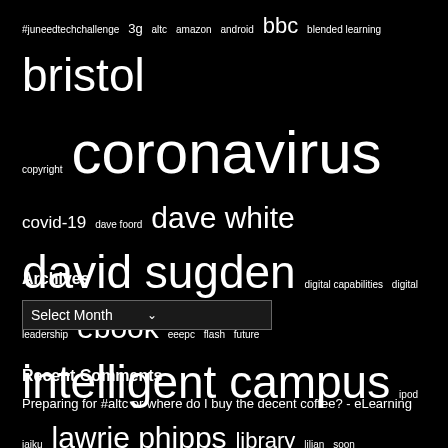[Figure (infographic): Tag cloud on black background with various blog tags in different font sizes. Tags include: #juneedtechchallenge, 3g, altc, amazon, android, bbc, blended learning, bristol, copyright, coronavirus, covid-19, dave foord, dave white, david sugden, digital capabilities, digital leadership, ebook, eeepc, flash, future, intelligent campus, ipod, jaiku, lawrie phipps, library, lilian, soon, london, microsoft, mobile learning, mobile phone, molenet, moodle, news, online learning, photography, powerpoint, presentation, resources, shozu, strategy, teams, umpc, wifi, wonkhe, wordpress]
Archives
Select Month
Recent Comments
Preparing for #altc or where do I buy the decent coffee? - eLearning